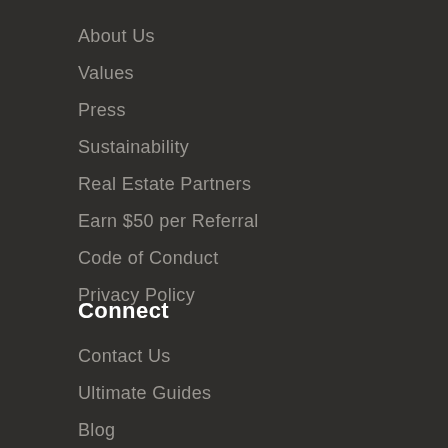About Us
Values
Press
Sustainability
Real Estate Partners
Earn $50 per Referral
Code of Conduct
Privacy Policy
Connect
Contact Us
Ultimate Guides
Blog